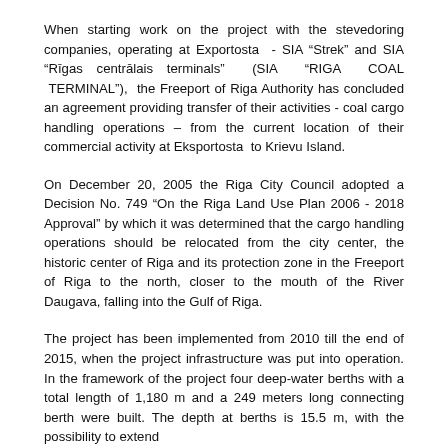When starting work on the project with the stevedoring companies, operating at Exportosta - SIA “Strek” and SIA “Rīgas centrālais terminals” (SIA “RIGA COAL TERMINAL”), the Freeport of Riga Authority has concluded an agreement providing transfer of their activities - coal cargo handling operations – from the current location of their commercial activity at Eksportosta to Krievu Island.
On December 20, 2005 the Riga City Council adopted a Decision No. 749 “On the Riga Land Use Plan 2006 - 2018 Approval” by which it was determined that the cargo handling operations should be relocated from the city center, the historic center of Riga and its protection zone in the Freeport of Riga to the north, closer to the mouth of the River Daugava, falling into the Gulf of Riga.
The project has been implemented from 2010 till the end of 2015, when the project infrastructure was put into operation. In the framework of the project four deep-water berths with a total length of 1,180 m and a 249 meters long connecting berth were built. The depth at berths is 15.5 m, with the possibility to extend...